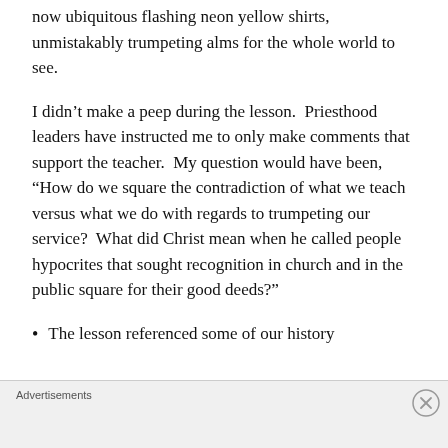now ubiquitous flashing neon yellow shirts, unmistakably trumpeting alms for the whole world to see.
I didn't make a peep during the lesson.  Priesthood leaders have instructed me to only make comments that support the teacher.  My question would have been, “How do we square the contradiction of what we teach versus what we do with regards to trumpeting our service?  What did Christ mean when he called people hypocrites that sought recognition in church and in the public square for their good deeds?”
The lesson referenced some of our history
Advertisements